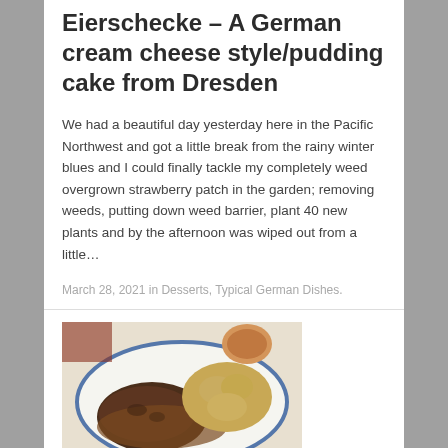Eierschecke – A German cream cheese style/pudding cake from Dresden
We had a beautiful day yesterday here in the Pacific Northwest and got a little break from the rainy winter blues and I could finally tackle my completely weed overgrown strawberry patch in the garden; removing weeds, putting down weed barrier, plant 40 new plants and by the afternoon was wiped out from a little…
March 28, 2021 in Desserts, Typical German Dishes.
[Figure (photo): A plate of food showing what appears to be a meat dish with gravy and a side of dumplings or potato dish, served on a white plate with a blue decorative border.]